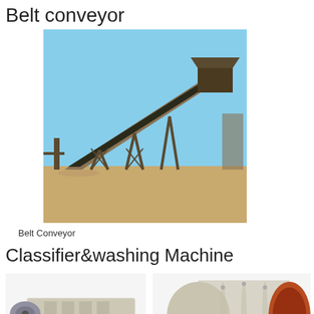Belt conveyor
[Figure (photo): Photo of a belt conveyor system in an arid/desert mining environment, showing a long inclined conveyor structure with steel framework.]
Belt Conveyor
Classifier&washing Machine
[Figure (photo): Photo of XL Series Spiral Sandstone Washer machine — a long horizontal industrial washing machine with spiral/screw mechanism, light grey/beige colored.]
XL Series Spiral Sandstone Washer
[Figure (photo): Photo of YTX Cylinder Stone Washing Machine — a large cylindrical drum washing machine on a steel frame base, light grey with an orange/rust colored opening at one end.]
YTX Cylinder Stone Washing Mac...
Crushing equipment